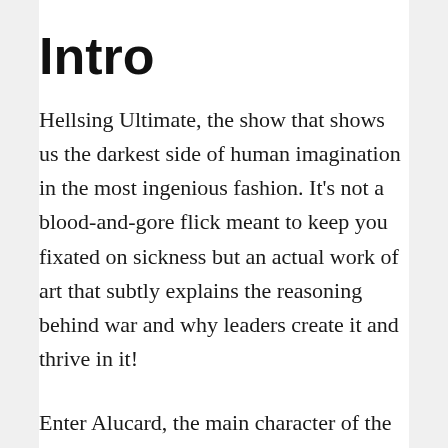Intro
Hellsing Ultimate, the show that shows us the darkest side of human imagination in the most ingenious fashion. It's not a blood-and-gore flick meant to keep you fixated on sickness but an actual work of art that subtly explains the reasoning behind war and why leaders create it and thrive in it!
Enter Alucard, the main character of the series, a total and complete monster that... Roots for both sides? And goes out of his way to kill for the sake of war.